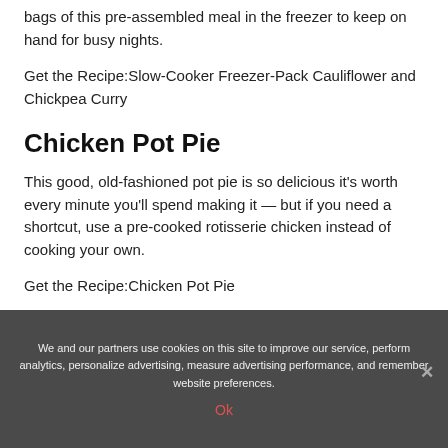bags of this pre-assembled meal in the freezer to keep on hand for busy nights.
Get the Recipe:Slow-Cooker Freezer-Pack Cauliflower and Chickpea Curry
Chicken Pot Pie
This good, old-fashioned pot pie is so delicious it's worth every minute you'll spend making it — but if you need a shortcut, use a pre-cooked rotisserie chicken instead of cooking your own.
Get the Recipe:Chicken Pot Pie
We and our partners use cookies on this site to improve our service, perform analytics, personalize advertising, measure advertising performance, and remember website preferences.
Ok